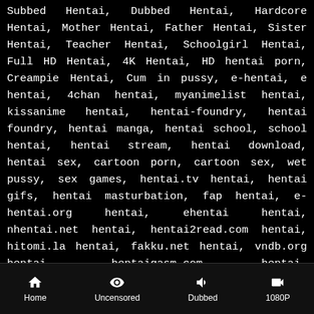Subbed Hentai, Dubbed Hentai, Hardcore Hentai, Mother Hentai, Father Hentai, Sister Hentai, Teacher Hentai, Schoolgirl Hentai, Full HD Hentai, 4K Hentai, HD hentai porn, Creampie Hentai, Cum in pussy, e-hentai, e hentai, 4chan hentai, myanimelist hentai, kissanime hentai, hentai-foundry, hentai foundry, hentai manga, hentai school, school hentai, hentai stream, hentai download, hentai sex, cartoon porn, cartoon sex, wet pussy, sex games, hentai.tv hentai, hentai gifs, hentai masturbation, fap hentai, e-hentai.org hentai, ehentai hentai, nhentai.net hentai, hentai2read.com hentai, hitomi.la hentai, fakku.net hentai, vndb.org hentai, hentaigasm.com hentai, hentaistream.com hentai, hentaidude.com hentai, hbrowse.com hentai. hentaimama.io hentai. hentaihaven.org
Home | Uncensored | Dubbed | 1080P